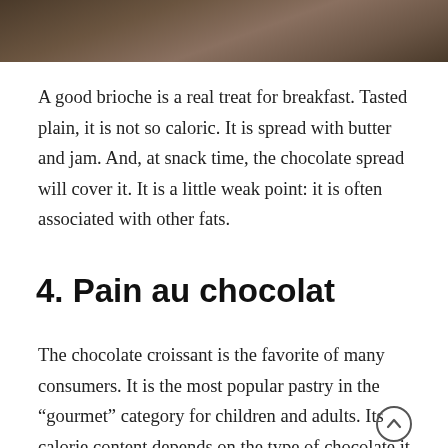[Figure (photo): Cropped photo of a brioche or pastry, dark brown tones, partially visible at the top of the page]
A good brioche is a real treat for breakfast. Tasted plain, it is not so caloric. It is spread with butter and jam. And, at snack time, the chocolate spread will cover it. It is a little weak point: it is often associated with other fats.
4. Pain au chocolat
The chocolate croissant is the favorite of many consumers. It is the most popular pastry in the “gourmet” category for children and adults. Its calorie content depends on the type of chocolate it contains. Indeed, for an artisanal puff pastry, it is necessary to count 274 kcal for a bread that weighs 65g. As for the industrial type of chocolate bread, it contains only